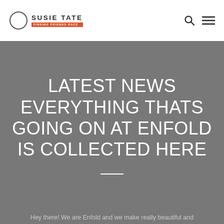Susie Tate — FINDING FRIENDS RACE
LATEST NEWS EVERYTHING THATS GOING ON AT ENFOLD IS COLLECTED HERE
Hey there! We are Enfold and we make really beautiful and